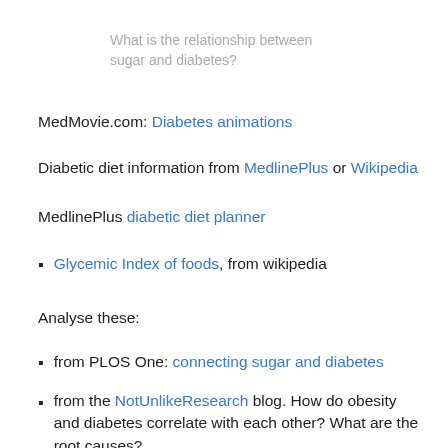What is the relationship between sugar and diabetes?
MedMovie.com: Diabetes animations
Diabetic diet information from MedlinePlus or Wikipedia
MedlinePlus diabetic diet planner
Glycemic Index of foods, from wikipedia
Analyse these:
from PLOS One: connecting sugar and diabetes
from the NotUnlikeResearch blog. How do obesity and diabetes correlate with each other? What are the root causes?